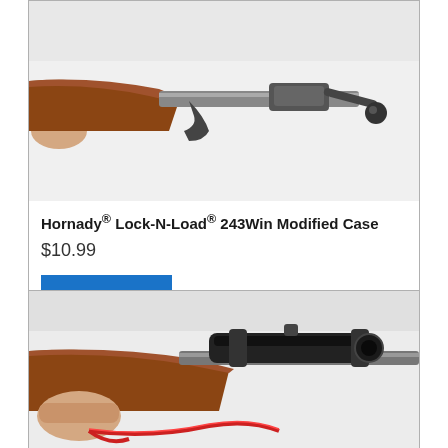[Figure (photo): Close-up photo of a rifle bolt action mechanism with a person's hand holding the wooden stock. The bolt handle is visible against a white background.]
Hornady® Lock-N-Load® 243Win Modified Case
$10.99
Add to cart
[Figure (photo): Photo of a rifle with a scope mounted on top. A person's hand is holding a red cable/sling near the trigger guard area. The rifle has a wooden stock.]